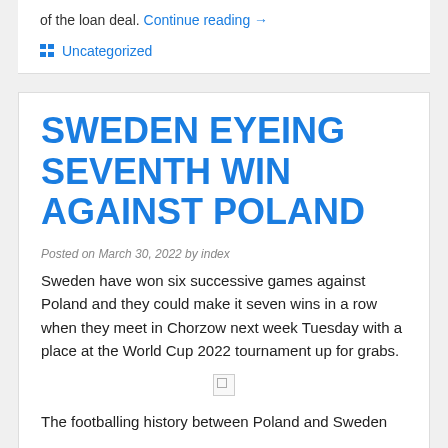of the loan deal. Continue reading →
Uncategorized
SWEDEN EYEING SEVENTH WIN AGAINST POLAND
Posted on March 30, 2022 by index
Sweden have won six successive games against Poland and they could make it seven wins in a row when they meet in Chorzow next week Tuesday with a place at the World Cup 2022 tournament up for grabs.
[Figure (photo): Broken image placeholder]
The footballing history between Poland and Sweden